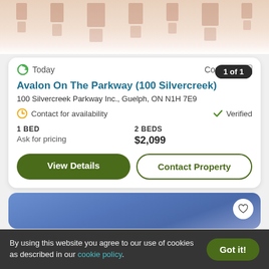[Figure (photo): Partial top of a building/property image, showing a blurred warm-toned facade with repeated rectangular window/column patterns, cropped at top of page]
1 of 1
Today
Compare
Avalon On The Parkway (100 Silvercreek)
100 Silvercreek Parkway Inc., Guelph, ON N1H 7E9
Contact for availability
Verified
1 BED
Ask for pricing
2 BEDS
$2,099
View Details
Contact Property
[Figure (photo): Partial view of a second property listing card with a blue sky background image and a heart/favorite button icon]
By using this website you agree to our use of cookies as described in our cookie policy.
Got it!